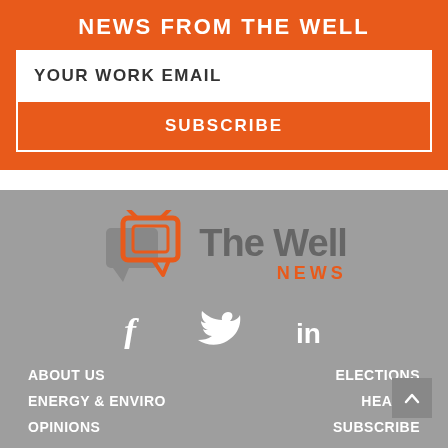NEWS FROM THE WELL
YOUR WORK EMAIL
SUBSCRIBE
[Figure (logo): The Well News logo with orange speech bubble TV icon and gray text]
[Figure (infographic): Social media icons: Facebook (f), Twitter bird, LinkedIn (in)]
ABOUT US
ELECTIONS
ENERGY & ENVIRO
HEALTH
OPINIONS
SUBSCRIBE